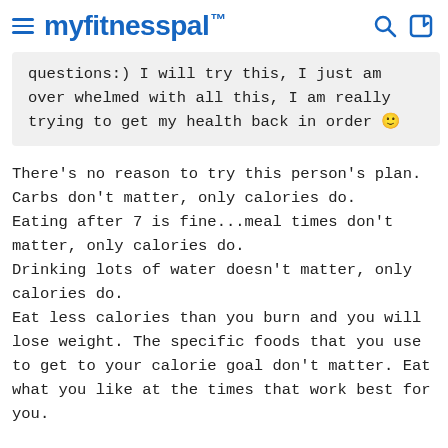myfitnesspal
questions:) I will try this, I just am over whelmed with all this, I am really trying to get my health back in order 🙂
There's no reason to try this person's plan.
Carbs don't matter, only calories do.
Eating after 7 is fine...meal times don't matter, only calories do.
Drinking lots of water doesn't matter, only calories do.
Eat less calories than you burn and you will lose weight. The specific foods that you use to get to your calorie goal don't matter. Eat what you like at the times that work best for you.